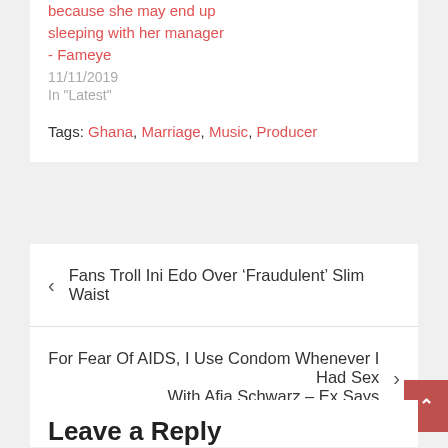because she may end up sleeping with her manager - Fameye
11/11/2019
In "Latest"
Tags: Ghana, Marriage, Music, Producer
< Fans Troll Ini Edo Over ‘Fraudulent’ Slim Waist
For Fear Of AIDS, I Use Condom Whenever I Had Sex With Afia Schwarz – Ex Says >
Leave a Reply